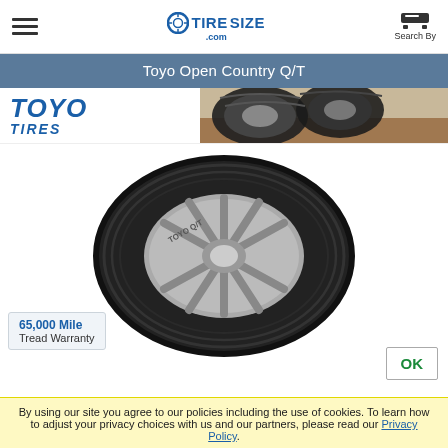TireSIZE.com — hamburger menu, logo, search by
Toyo Open Country Q/T
[Figure (logo): TOYO TIRES logo in bold italic blue, with tire tread banner image on right]
65,000 Mile Tread Warranty
[Figure (photo): Toyo Open Country Q/T tire on alloy wheel, side profile view on white background]
OK
By using our site you agree to our policies including the use of cookies. To learn how to adjust your privacy choices with us and our partners, please read our Privacy Policy.